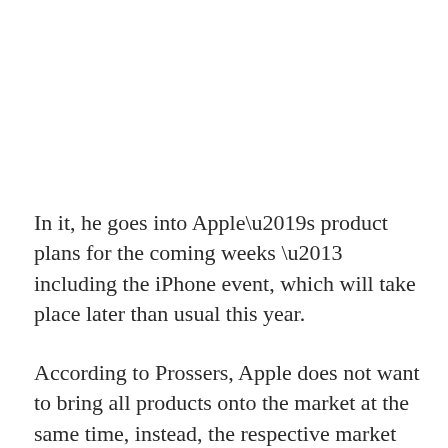In it, he goes into Apple’s product plans for the coming weeks – including the iPhone event, which will take place later than usual this year.
According to Prossers, Apple does not want to bring all products onto the market at the same time, instead, the respective market launches take place over a period of two months.